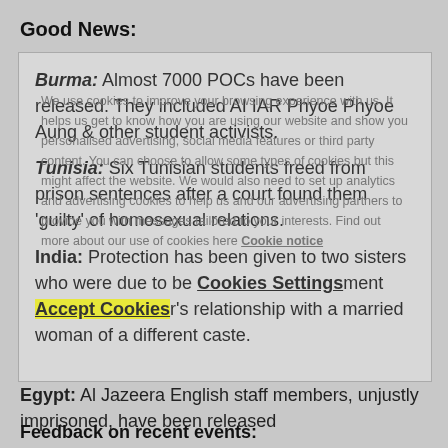Good News:
Burma: Almost 7000 POCs have been released. They included AI IAR Phyoe Phyoe Aung & other student activists.
Tunisia: Six Tunisian students freed from prison sentences after a court found them 'guilty' of homosexual relations.
India: Protection has been given to two sisters who were due to be killed by judgement for their brother's relationship with a married woman of a different caste.
We use cookies to improve your browsing experience with us. It helps us get to know how you are using our website and show you personalised advertising, social media features or third party content. You can choose to allow some types of cookies but this might affect the website. We would also need to set up analytics and advertising cookies to help us and our advertising partners to provide you with messages tailored to your interests. Find out more about our use of cookies here Cookie notice
Egypt: Al Jazeera English staff members, unjustly imprisoned, have been released
Feedback on recent events: